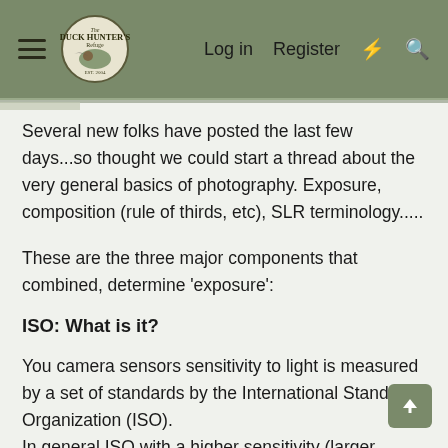Duck Hunter's Refuge — Log in | Register
Several new folks have posted the last few days...so thought we could start a thread about the very general basics of photography. Exposure, composition (rule of thirds, etc), SLR terminology.....
These are the three major components that combined, determine 'exposure':
ISO: What is it?
You camera sensors sensitivity to light is measured by a set of standards by the International Standards Organization (ISO).
In general ISO with a higher sensitivity (larger number) have more noise and do not register detail as well as photos taken with lower sensitivity (lower number).